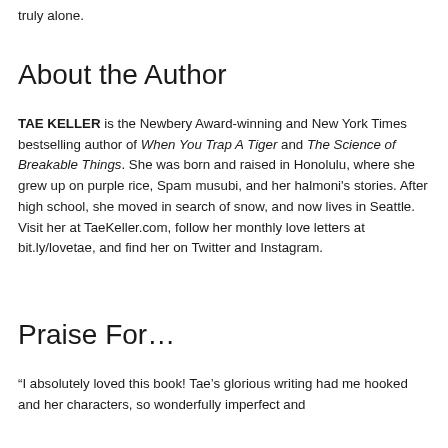truly alone.
About the Author
TAE KELLER is the Newbery Award-winning and New York Times bestselling author of When You Trap A Tiger and The Science of Breakable Things. She was born and raised in Honolulu, where she grew up on purple rice, Spam musubi, and her halmoni's stories. After high school, she moved in search of snow, and now lives in Seattle. Visit her at TaeKeller.com, follow her monthly love letters at bit.ly/lovetae, and find her on Twitter and Instagram.
Praise For…
“I absolutely loved this book! Tae’s glorious writing had me hooked and her characters, so wonderfully imperfect and